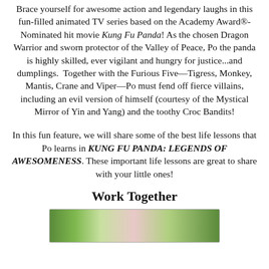Brace yourself for awesome action and legendary laughs in this fun-filled animated TV series based on the Academy Award®-Nominated hit movie Kung Fu Panda! As the chosen Dragon Warrior and sworn protector of the Valley of Peace, Po the panda is highly skilled, ever vigilant and hungry for justice...and dumplings. Together with the Furious Five—Tigress, Monkey, Mantis, Crane and Viper—Po must fend off fierce villains, including an evil version of himself (courtesy of the Mystical Mirror of Yin and Yang) and the toothy Croc Bandits!
In this fun feature, we will share some of the best life lessons that Po learns in KUNG FU PANDA: LEGENDS OF AWESOMENESS. These important life lessons are great to share with your little ones!
Work Together
[Figure (photo): Partial image at bottom of page showing green bamboo and pink background, appears to be a scene from Kung Fu Panda: Legends of Awesomeness]